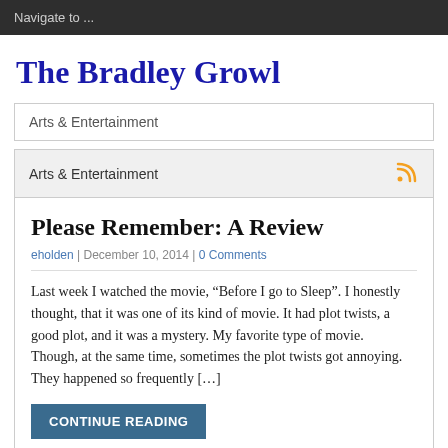Navigate to ...
The Bradley Growl
Arts & Entertainment
Arts & Entertainment
Please Remember: A Review
eholden | December 10, 2014 | 0 Comments
Last week I watched the movie, “Before I go to Sleep”. I honestly thought, that it was one of its kind of movie. It had plot twists, a good plot, and it was a mystery. My favorite type of movie.        Though, at the same time, sometimes the plot twists got annoying. They happened so frequently […]
CONTINUE READING